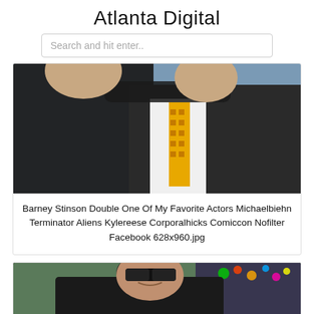Atlanta Digital
Search and hit enter..
[Figure (photo): Two men posing together; one in all black, the other in a suit with a yellow patterned tie, in front of a blue background.]
Barney Stinson Double One Of My Favorite Actors Michaelbiehn Terminator Aliens Kylereese Corporalhicks Comiccon Nofilter Facebook 628x960.jpg
[Figure (photo): A man in sunglasses and a black leather jacket, partially cropped, with colorful lights in the background.]